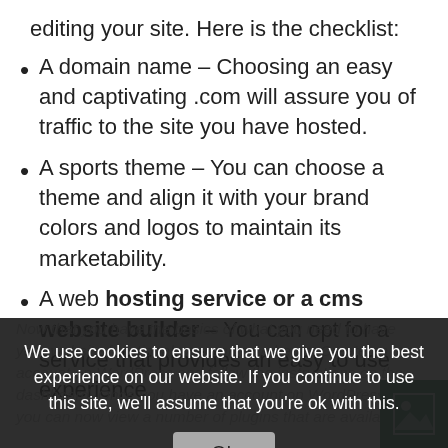editing your site. Here is the checklist:
A domain name – Choosing an easy and captivating .com will assure you of traffic to the site you have hosted.
A sports theme – You can choose a theme and align it with your brand colors and logos to maintain its marketability.
A web hosting service or a cms website builder – You can opt for a service that provides an easy to use experience
Now that you have the basics of what you need to have your website functional, you can now begin. Create an account on WordPress and follow the instructions on the dashboard. Once you have an account on WordPress, you can now view a number of plugins that are available
We use cookies to ensure that we give you the best experience on our website. If you continue to use this site, we'll assume that you're ok with this.